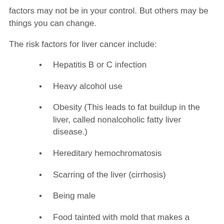factors may not be in your control. But others may be things you can change.
The risk factors for liver cancer include:
Hepatitis B or C infection
Heavy alcohol use
Obesity (This leads to fat buildup in the liver, called nonalcoholic fatty liver disease.)
Hereditary hemochromatosis
Scarring of the liver (cirrhosis)
Being male
Food tainted with mold that makes a poison called aflatoxin